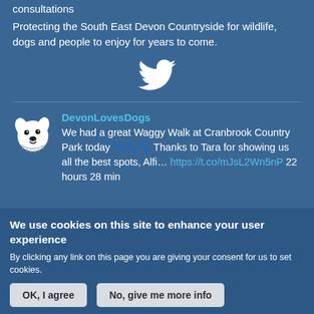consultations
Protecting the South East Devon Countryside for wildlife, dogs and people to enjoy for years to come.
[Figure (logo): Twitter bird icon in white]
DevonLovesDogs
We had a great Waggy Walk at Cranbrook Country Park today 🐾🐾🐾 Thanks to Tara for showing us all the best spots, Alfi… https://t.co/mJsL2Wn5nP 22 hours 28 min
We use cookies on this site to enhance your user experience
By clicking any link on this page you are giving your consent for us to set cookies.
OK, I agree
No, give me more info